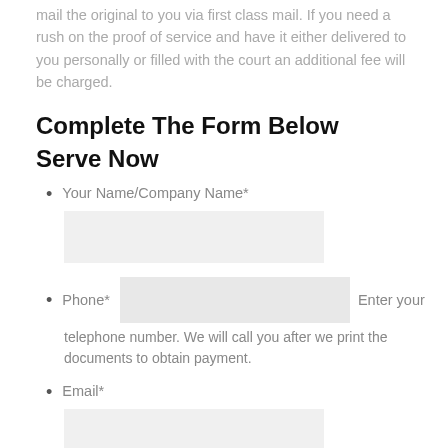mail the original to you via first class mail. If you need a rush on the proof of service and have it either delivered to you personally or filled with the court an additional fee will be charged.
Complete The Form Below
Serve Now
Your Name/Company Name*
Phone*  Enter your telephone number. We will call you after we print the documents to obtain payment.
Email*